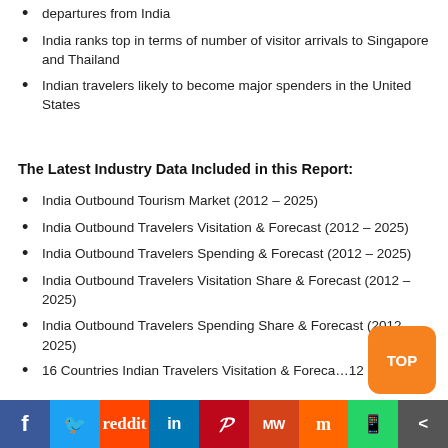departures from India
India ranks top in terms of number of visitor arrivals to Singapore and Thailand
Indian travelers likely to become major spenders in the United States
The Latest Industry Data Included in this Report:
India Outbound Tourism Market (2012 – 2025)
India Outbound Travelers Visitation & Forecast (2012 – 2025)
India Outbound Travelers Spending & Forecast (2012 – 2025)
India Outbound Travelers Visitation Share & Forecast (2012 – 2025)
India Outbound Travelers Spending Share & Forecast (2012 – 2025)
16 Countries Indian Travelers Visitation & Forecast (2012 – 2025)